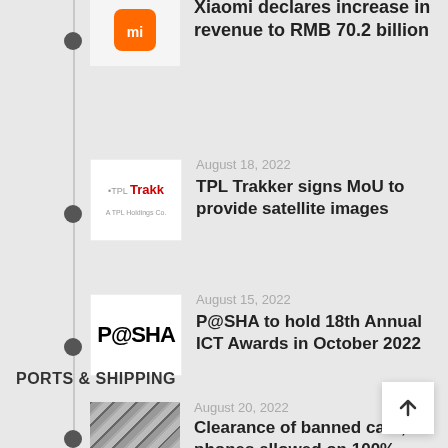Xiaomi declares increase in revenue to RMB 70.2 billion
August 18, 2022 — TPL Trakker signs MoU to provide satellite images
August 15, 2022 — P@SHA to hold 18th Annual ICT Awards in October 2022
PORTS & SHIPPING
August 20, 2022 — Clearance of banned cars, phones allowed on 100%